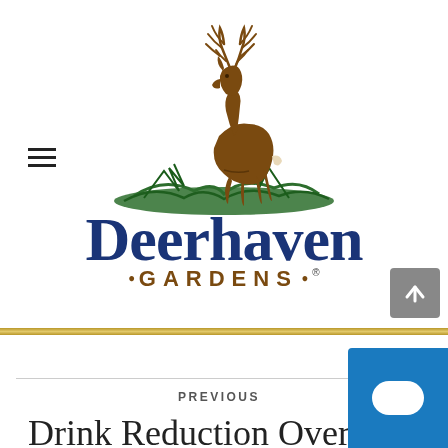[Figure (logo): Deerhaven Gardens logo with brown deer illustration standing on green foliage, dark blue 'Deerhaven' text, brown 'GARDENS' subtitle with decorative dots and registered trademark symbol]
PREVIOUS
Drink Reduction Over Time